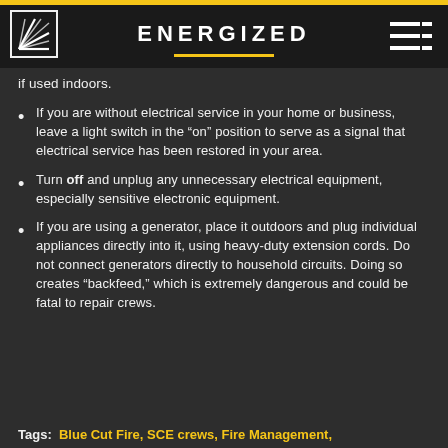ENERGIZED
if used indoors.
If you are without electrical service in your home or business, leave a light switch in the “on” position to serve as a signal that electrical service has been restored in your area.
Turn off and unplug any unnecessary electrical equipment, especially sensitive electronic equipment.
If you are using a generator, place it outdoors and plug individual appliances directly into it, using heavy-duty extension cords. Do not connect generators directly to household circuits. Doing so creates “backfeed,” which is extremely dangerous and could be fatal to repair crews.
Tags: Blue Cut Fire, SCE crews, Fire Management, ...